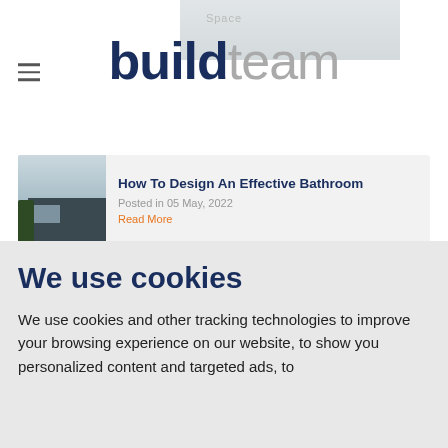buildteam
How To Design An Effective Bathroom
Posted in 05 May, 2022
Read More
Creating Sociable Spaces For Your Living Room
Posted in 19 April, 2022
We use cookies
We use cookies and other tracking technologies to improve your browsing experience on our website, to show you personalized content and targeted ads, to